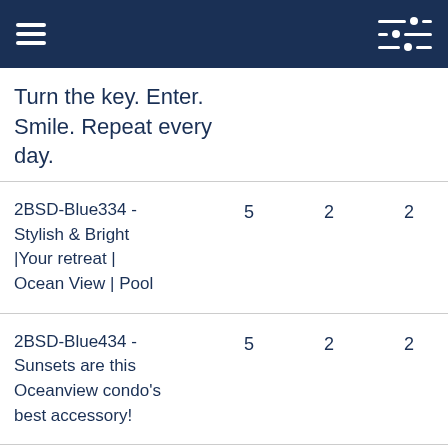Turn the key. Enter. Smile. Repeat every day.
| Listing | Rating | Beds | Baths |
| --- | --- | --- | --- |
| 2BSD-Blue334 - Stylish & Bright |Your retreat | Ocean View | Pool | 5 | 2 | 2 |
| 2BSD-Blue434 - Sunsets are this Oceanview condo's best accessory! | 5 | 2 | 2 |
| 2BSD-Blue634 - On | 5 | 2 | 2 |